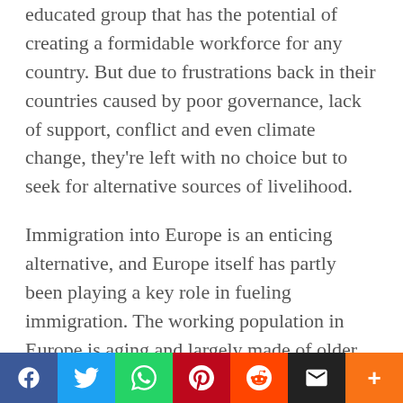educated group that has the potential of creating a formidable workforce for any country. But due to frustrations back in their countries caused by poor governance, lack of support, conflict and even climate change, they're left with no choice but to seek for alternative sources of livelihood.
Immigration into Europe is an enticing alternative, and Europe itself has partly been playing a key role in fueling immigration. The working population in Europe is aging and largely made of older people who will have all retired in the next few decades. According to Eurostat, the population pyramid of Europe is widest at the middle and narrowest at the
[Figure (other): Social media sharing bar with Facebook, Twitter, WhatsApp, Pinterest, Reddit, Email, and More buttons]